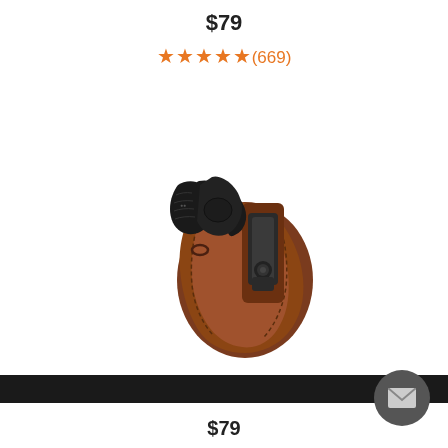$79
★★★★★ (669)
[Figure (photo): Brown leather IWB revolver holster with black steel belt clip and a black revolver inserted, shown on white background.]
$79